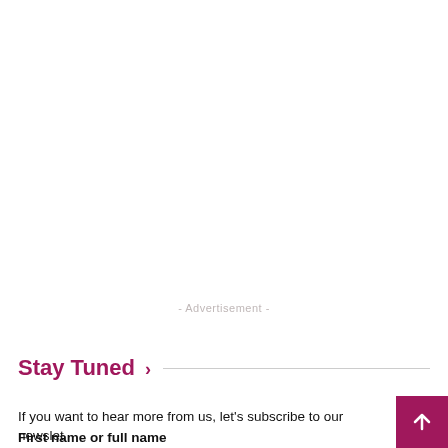- Advertisement -
Stay Tuned ›
If you want to hear more from us, let's subscribe to our newslet…
First name or full name